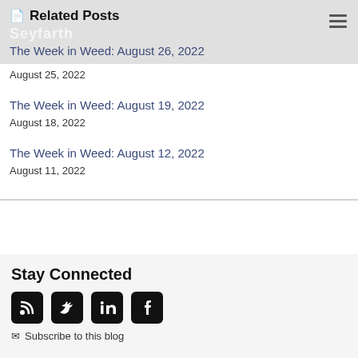Related Posts
The Week in Weed: August 26, 2022
August 25, 2022
The Week in Weed: August 19, 2022
August 18, 2022
The Week in Weed: August 12, 2022
August 11, 2022
Stay Connected
Subscribe to this blog